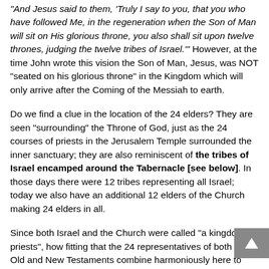"And Jesus said to them, 'Truly I say to you, that you who have followed Me, in the regeneration when the Son of Man will sit on His glorious throne, you also shall sit upon twelve thrones, judging the twelve tribes of Israel.'" However, at the time John wrote this vision the Son of Man, Jesus, was NOT "seated on his glorious throne" in the Kingdom which will only arrive after the Coming of the Messiah to earth.
Do we find a clue in the location of the 24 elders? They are seen "surrounding" the Throne of God, just as the 24 courses of priests in the Jerusalem Temple surrounded the inner sanctuary; they are also reminiscent of the tribes of Israel encamped around the Tabernacle [see below]. In those days there were 12 tribes representing all Israel; today we also have an additional 12 elders of the Church making 24 elders in all.
Since both Israel and the Church were called "a kingdom of priests", how fitting that the 24 representatives of both the Old and New Testaments combine harmoniously here to worship God before his throne.